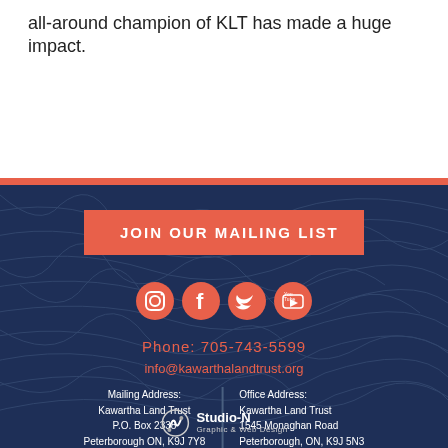all-around champion of KLT has made a huge impact.
JOIN OUR MAILING LIST
[Figure (other): Social media icons: Instagram, Facebook, Twitter, YouTube]
Phone: 705-743-5599
info@kawarthalandtrust.org
Mailing Address:
Kawartha Land Trust
P.O. Box 2338
Peterborough ON, K9J 7Y8

Office Address:
Kawartha Land Trust
1545 Monaghan Road
Peterborough, ON, K9J 5N3
[Figure (logo): Studio-N Graphic & Web Design logo]